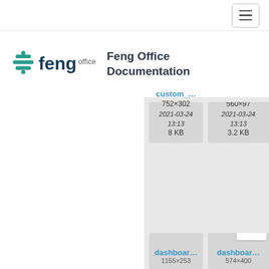Feng Office Documentation
[Figure (logo): Feng Office logo with teal divider icon and dark blue 'feng office' wordmark]
Feng Office Documentation
[Figure (screenshot): File card: custom_... 752×302, 2021-03-24 13:13, 8 KB]
[Figure (screenshot): File card: custom_... 560×97, 2021-03-24 13:13, 3.2 KB]
[Figure (screenshot): File card: dashboar... 1155×253]
[Figure (screenshot): File card: dashboar... 574×400]